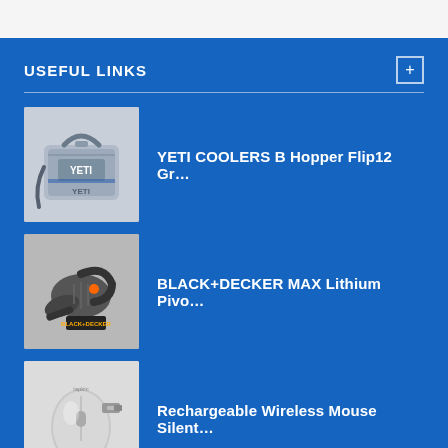USEFUL LINKS
[Figure (photo): YETI Hopper Flip 12 cooler bag product image]
YETI COOLERS B Hopper Flip12 Gr…
[Figure (photo): BLACK+DECKER MAX Lithium Pivot vacuum product image]
BLACK+DECKER MAX Lithium Pivo…
[Figure (photo): Rechargeable Wireless Mouse Silent product image]
Rechargeable Wireless Mouse Silent…